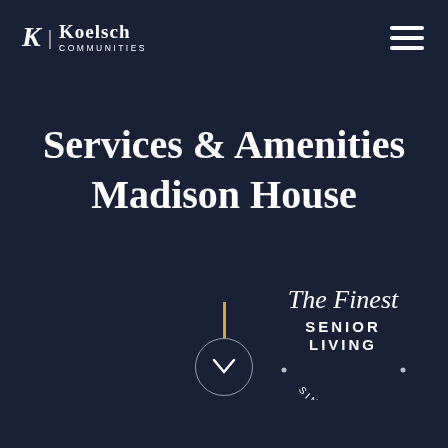[Figure (logo): Koelsch Communities logo with stylized K, vertical divider, and text KOELSCH COMMUNITIES in white on dark navy background]
[Figure (other): Hamburger menu icon (three horizontal lines) in white, top right corner]
Services & Amenities Madison House
[Figure (other): Gold vertical line above a circular down-arrow scroll indicator button in white outline circle]
[Figure (other): The Finest SENIOR LIVING SINCE 1958 circular badge/seal in white, lower right corner, with script text 'The Finest' above bold SENIOR LIVING text and curved SINCE 1958 text below]